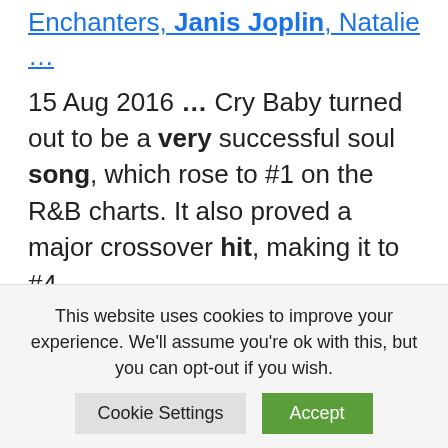Enchanters, Janis Joplin, Natalie …
15 Aug 2016 … Cry Baby turned out to be a very successful soul song, which rose to #1 on the R&B charts. It also proved a major crossover hit, making it to #4 …
130 Historic Black Women Guitarists and Bassists You Need To Know
Although more recognized for her impeccable voice, Memphis Minnie's
This website uses cookies to improve your experience. We'll assume you're ok with this, but you can opt-out if you wish.